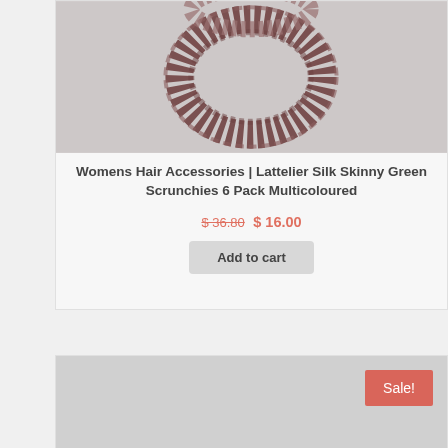[Figure (photo): Brown silk scrunchies product image on a grey background]
Womens Hair Accessories | Lattelier Silk Skinny Green Scrunchies 6 Pack Multicoloured
$ 36.80 $ 16.00
Add to cart
[Figure (photo): Second product image placeholder with Sale! badge]